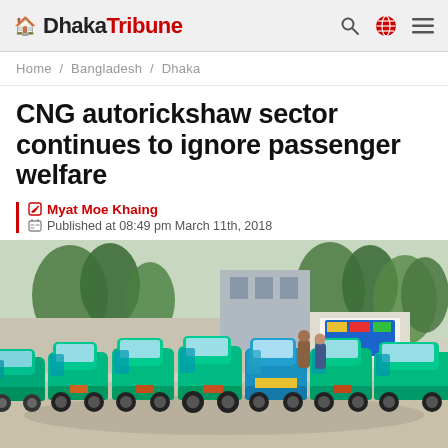Dhaka Tribune
Home / Bangladesh / Dhaka
CNG autorickshaw sector continues to ignore passenger welfare
Myat Moe Khaing
Published at 08:49 pm March 11th, 2018
[Figure (photo): A row of green CNG auto-rickshaws parked in a lot, with trees and buildings in the background, in Dhaka, Bangladesh.]